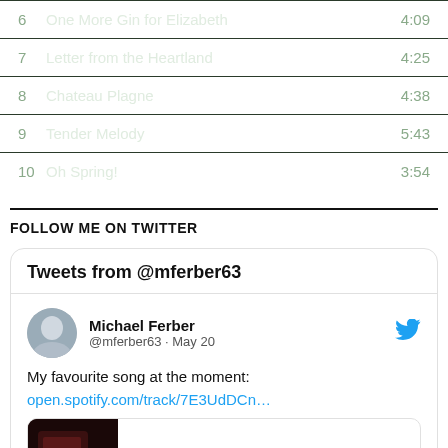6  One More Gin for Elizabeth  4:09
7  Letter from the Heartland  4:25
8  Chateau Plagne  4:38
9  Tender Melody  5:43
10  Oh Spring!  3:54
FOLLOW ME ON TWITTER
[Figure (screenshot): Twitter widget showing tweets from @mferber63. Displays a tweet by Michael Ferber (@mferber63, May 20) reading 'My favourite song at the moment: open.spotify.com/track/7E3UdDCn…' with a Spotify link preview showing open.spotify.com.]